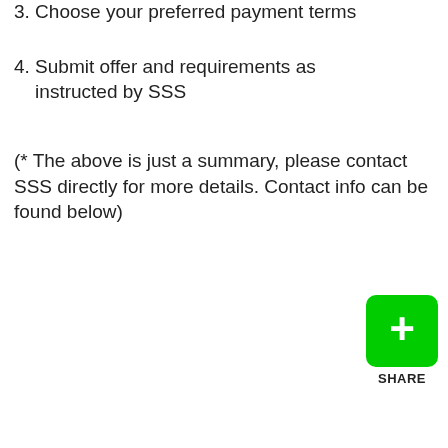3. Choose your preferred payment terms
4. Submit offer and requirements as instructed by SSS
(* The above is just a summary, please contact SSS directly for more details. Contact info can be found below)
[Figure (other): Green square button with white plus sign and SHARE label below]